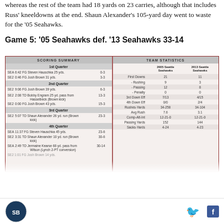whereas the rest of the team had 18 yards on 23 carries, although that includes Russ' kneel-downs at the end. Shaun Alexander's 105-yard day went to waste for the '05 Seahawks.
Game 5: '05 Seahawks def. '13 Seahawks 33-14
[Figure (table-as-image): Scoring summary and team statistics scorecard for Game 5 between 2005 and 2013 Seattle Seahawks. Left panel shows scoring summary by quarter. Right panel shows team statistics comparing 2005 Seattle Seahawks vs 2013 Seattle Seahawks including First Downs, Rushing, Passing, Penalty, 3rd Down Eff, 4th Down Eff, Rushes-Yards, Avg Rush, Comp-Att-Int, Passing Yards, Sacks-Yards.]